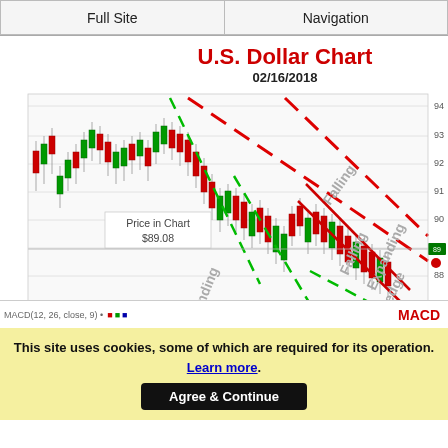Full Site | Navigation
[Figure (continuous-plot): U.S. Dollar Chart dated 02/16/2018 showing candlestick price chart with annotated chart patterns: 'Expanding Wedge' (dashed green lines) and 'Falling Expanding Wedge' (dashed red lines) patterns labeled on chart. Candlesticks show declining price trend. Price in Chart $89.08 labeled on left side. MACD indicator panel at bottom.]
This site uses cookies, some of which are required for its operation. Learn more. Agree & Continue